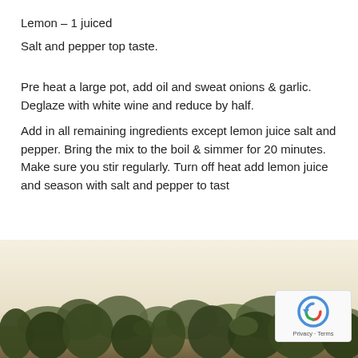Lemon – 1 juiced
Salt and pepper top taste.
Pre heat a large pot, add oil and sweat onions & garlic. Deglaze with white wine and reduce by half.
Add in all remaining ingredients except lemon juice salt and pepper. Bring the mix to the boil & simmer for 20 minutes. Make sure you stir regularly. Turn off heat add lemon juice and season with salt and pepper to tast
[Figure (photo): Landscape photo showing trees and parkland with a pale sky, reCAPTCHA badge overlaid in bottom-right corner]